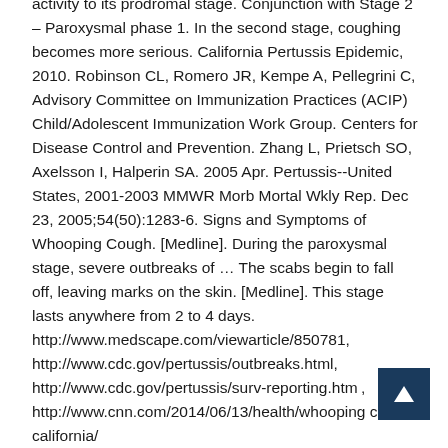activity to its prodromal stage. Conjunction with Stage 2 – Paroxysmal phase 1. In the second stage, coughing becomes more serious. California Pertussis Epidemic, 2010. Robinson CL, Romero JR, Kempe A, Pellegrini C, Advisory Committee on Immunization Practices (ACIP) Child/Adolescent Immunization Work Group. Centers for Disease Control and Prevention. Zhang L, Prietsch SO, Axelsson I, Halperin SA. 2005 Apr. Pertussis--United States, 2001-2003 MMWR Morb Mortal Wkly Rep. Dec 23, 2005;54(50):1283-6. Signs and Symptoms of Whooping Cough. [Medline]. During the paroxysmal stage, severe outbreaks of ... The scabs begin to fall off, leaving marks on the skin. [Medline]. This stage lasts anywhere from 2 to 4 days. http://www.medscape.com/viewarticle/850781, http://www.cdc.gov/pertussis/outbreaks.html, http://www.cdc.gov/pertussis/surv-reporting.html, http://www.cnn.com/2014/06/13/health/whooping-cough-california/